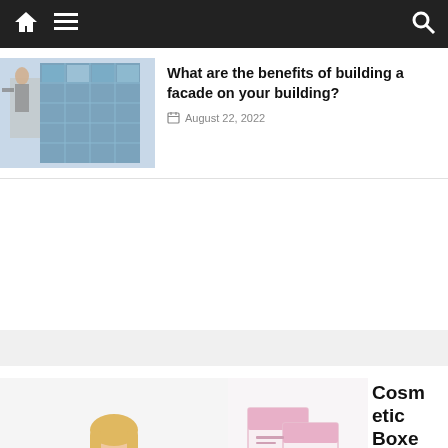Navigation bar with home, menu, and search icons
[Figure (photo): Building facade with glass windows and construction worker]
What are the benefits of building a facade on your building?
August 22, 2022
[Figure (photo): Woman in pink blazer sitting on yellow couch holding Instagram logo and heart icon]
BUSINESS
[Figure (photo): Pink and white cosmetic product boxes stacked]
Cosmetic Boxes Are a Convenient Form of Packaging
August 26, 2022